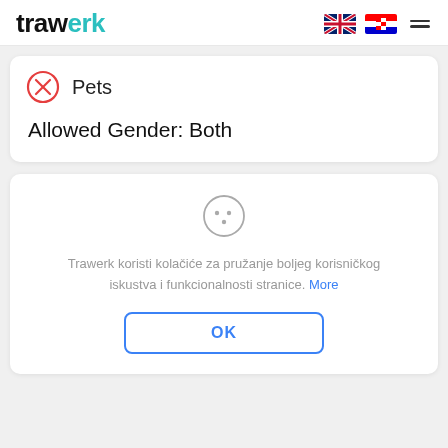[Figure (logo): Trawerk logo with teal accent on the 'w']
[Figure (illustration): UK flag and Croatian flag icons in header, plus hamburger menu lines]
Pets
Allowed Gender: Both
[Figure (illustration): Cookie/smiley icon with dots]
Trawerk koristi kolačiće za pružanje boljeg korisničkog iskustva i funkcionalnosti stranice. More
OK